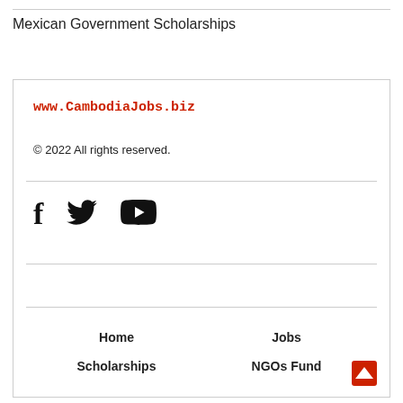Mexican Government Scholarships
www.CambodiaJobs.biz
© 2022 All rights reserved.
[Figure (other): Social media icons: Facebook, Twitter, YouTube]
Home
Jobs
Scholarships
NGOs Fund